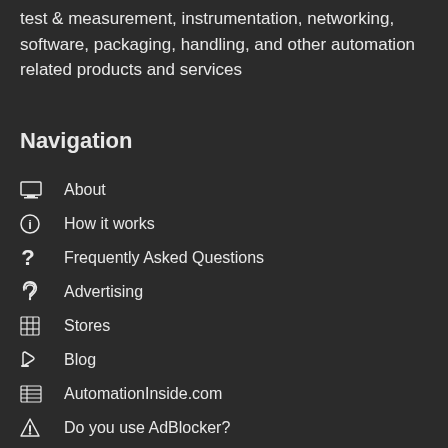test & measurement, instrumentation, networking, software, packaging, handling, and other automation related products and services
Navigation
About
How it works
Frequently Asked Questions
Advertising
Stores
Blog
AutomationInside.com
Do you use AdBlocker?
Something's not working?